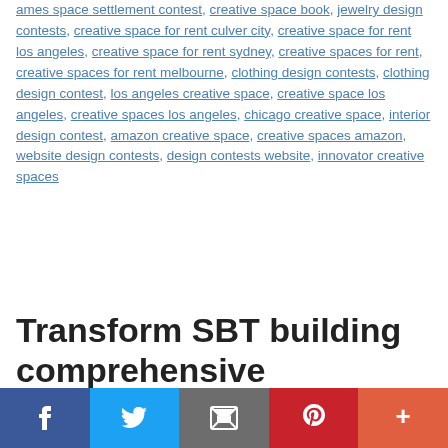ames space settlement contest, creative space book, jewelry design contests, creative space for rent culver city, creative space for rent los angeles, creative space for rent sydney, creative spaces for rent, creative spaces for rent melbourne, clothing design contests, clothing design contest, los angeles creative space, creative space los angeles, creative spaces los angeles, chicago creative space, interior design contest, amazon creative space, creative spaces amazon, website design contests, design contests website, innovator creative spaces
Transform SBT building comprehensive foundation for the digital ecosystem